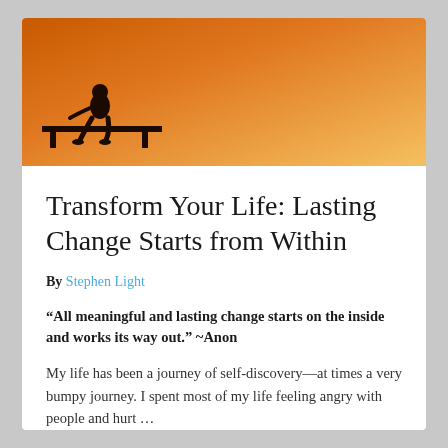[Figure (photo): A silhouette of a person sitting on a ledge or bench against an orange-gold sunset sky gradient background]
Transform Your Life: Lasting Change Starts from Within
By Stephen Light
“All meaningful and lasting change starts on the inside and works its way out.” ~Anon
My life has been a journey of self-discovery—at times a very bumpy journey. I spent most of my life feeling angry with people and hurt …